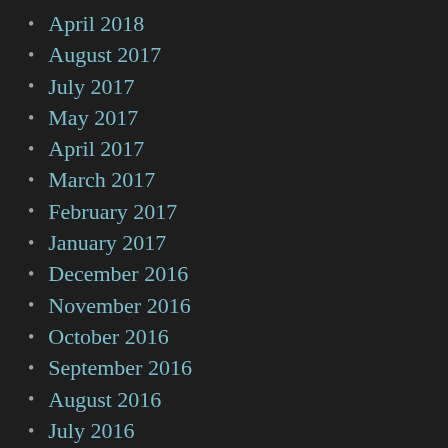April 2018
August 2017
July 2017
May 2017
April 2017
March 2017
February 2017
January 2017
December 2016
November 2016
October 2016
September 2016
August 2016
July 2016
June 2016
May 2016